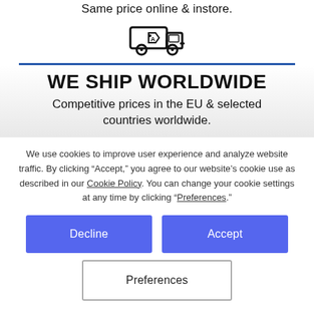Same price online & instore.
[Figure (illustration): Delivery van / truck icon with a tag symbol on the side]
WE SHIP WORLDWIDE
Competitive prices in the EU & selected countries worldwide.
We use cookies to improve user experience and analyze website traffic. By clicking “Accept,” you agree to our website’s cookie use as described in our Cookie Policy. You can change your cookie settings at any time by clicking “Preferences.”
Decline
Accept
Preferences